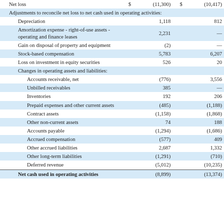|  | $ | Col1 | $ | Col2 |
| --- | --- | --- | --- | --- |
| Net loss | $ | (11,300) | $ | (10,417) |
| Adjustments to reconcile net loss to net cash used in operating activities: |  |  |  |  |
| Depreciation |  | 1,118 |  | 812 |
| Amortization expense - right-of-use assets - operating and finance leases |  | 2,231 |  | — |
| Gain on disposal of property and equipment |  | (2) |  | — |
| Stock-based compensation |  | 5,783 |  | 6,207 |
| Loss on investment in equity securities |  | 526 |  | 20 |
| Changes in operating assets and liabilities: |  |  |  |  |
| Accounts receivable, net |  | (776) |  | 3,556 |
| Unbilled receivables |  | 385 |  | — |
| Inventories |  | 192 |  | 206 |
| Prepaid expenses and other current assets |  | (485) |  | (1,188) |
| Contract assets |  | (1,158) |  | (1,868) |
| Other non-current assets |  | 74 |  | 188 |
| Accounts payable |  | (1,294) |  | (1,686) |
| Accrued compensation |  | (577) |  | 409 |
| Other accrued liabilities |  | 2,687 |  | 1,332 |
| Other long-term liabilities |  | (1,291) |  | (710) |
| Deferred revenue |  | (5,012) |  | (10,235) |
| Net cash used in operating activities |  | (8,899) |  | (13,374) |